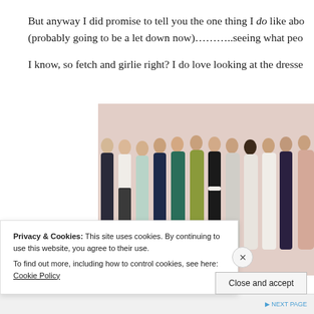But anyway I did promise to tell you the one thing I do like about (probably going to be a let down now)………..seeing what peo
I know, so fetch and girlie right? I do love looking at the dresse
[Figure (photo): Group photo of approximately 12-13 women wearing formal gowns in various colors including black, white, green, blue, and nude/blush tones, posed together in front of a light pink background, appearing to be at a formal event or awards ceremony.]
Privacy & Cookies: This site uses cookies. By continuing to use this website, you agree to their use.
To find out more, including how to control cookies, see here: Cookie Policy
Close and accept